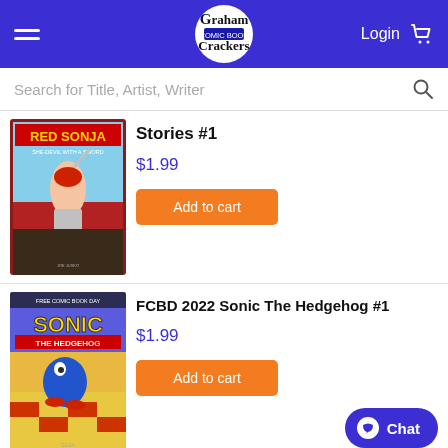[Figure (screenshot): Graham Crackers Comics website header with hamburger menu, logo, Login text, and cart icon on blue background]
Search for Title, Artist, Writer
[Figure (illustration): Red Sonja comic book cover - She-Devil With A Sword, showing Red Sonja warrior woman with sword]
Stories #1
$1.99
Add to cart
[Figure (illustration): FCBD 2022 Sonic The Hedgehog #1 comic book cover]
FCBD 2022 Sonic The Hedgehog #1
$1.99
Add to cart